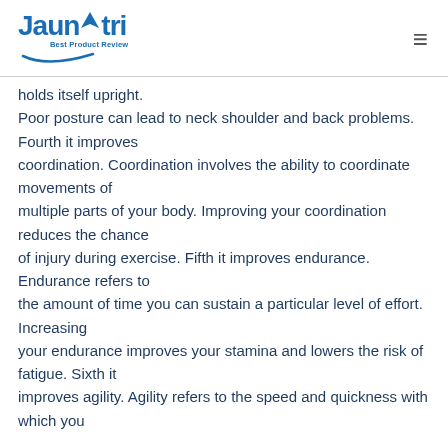Jaunatri - Best Product Review
holds itself upright. Poor posture can lead to neck shoulder and back problems. Fourth it improves coordination. Coordination involves the ability to coordinate movements of multiple parts of your body. Improving your coordination reduces the chance of injury during exercise. Fifth it improves endurance. Endurance refers to the amount of time you can sustain a particular level of effort. Increasing your endurance improves your stamina and lowers the risk of fatigue. Sixth it improves agility. Agility refers to the speed and quickness with which you